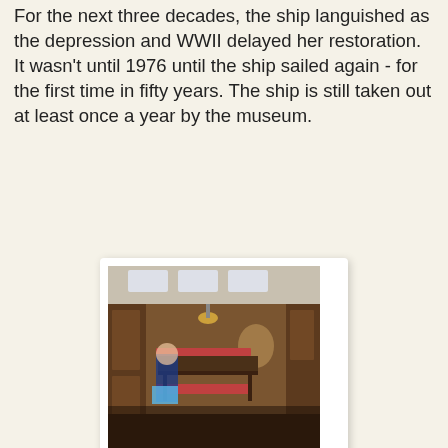For the next three decades, the ship languished as the depression and WWII delayed her restoration. It wasn't until 1976 until the ship sailed again - for the first time in fifty years. The ship is still taken out at least once a year by the museum.
[Figure (photo): Interior of a historic ship galley/dining area with wood paneling, long table, benches, and a child walking in motion blur]
A ghost in the galley
[Figure (photo): Close-up of white pleated fan-shaped objects against a dark background, possibly sails or decorative items on the ship]